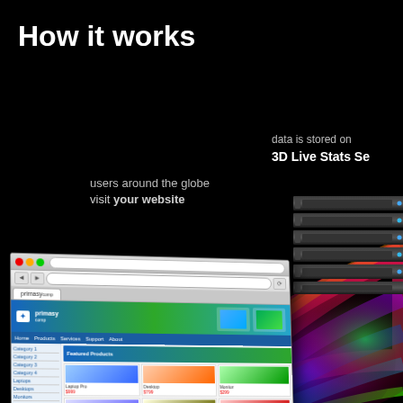How it works
users around the globe
visit your website
data is stored on
3D Live Stats Se
[Figure (illustration): Browser window showing a website with colorful header, sidebar navigation, and product listings. A rainbow/spectrum light beam flows from the browser toward server racks on the right, against a black background.]
[Figure (photo): Server rack unit stack with multiple 1U servers, dark metallic finish, on the upper right side of the image.]